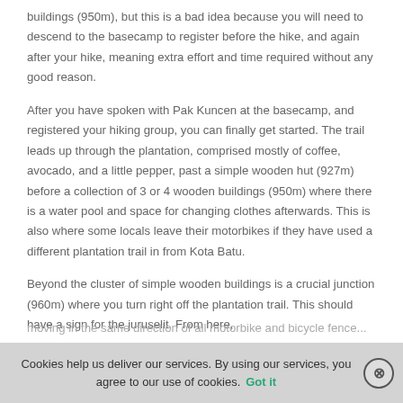buildings (950m), but this is a bad idea because you will need to descend to the basecamp to register before the hike, and again after your hike, meaning extra effort and time required without any good reason.
After you have spoken with Pak Kuncen at the basecamp, and registered your hiking group, you can finally get started. The trail leads up through the plantation, comprised mostly of coffee, avocado, and a little pepper, past a simple wooden hut (927m) before a collection of 3 or 4 wooden buildings (950m) where there is a water pool and space for changing clothes afterwards. This is also where some locals leave their motorbikes if they have used a different plantation trail in from Kota Batu.
Beyond the cluster of simple wooden buildings is a crucial junction (960m) where you turn right off the plantation trail. This should have a sign for the juruselit. From here, moving in the same direction of all motorbike and bicycle fence...
Cookies help us deliver our services. By using our services, you agree to our use of cookies. Got it